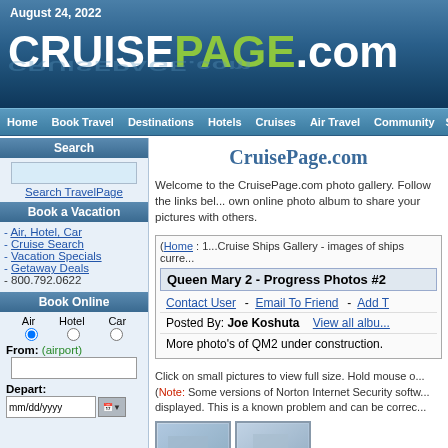August 24, 2022
CRUISEPAGE.com
Home  Book Travel  Destinations  Hotels  Cruises  Air Travel  Community  Search:
Search
Search TravelPage
Book a Vacation
- Air, Hotel, Car
- Cruise Search
- Vacation Specials
- Getaway Deals
- 800.792.0622
Book Online
Air  Hotel  Car
From: (airport)
Depart: mm/dd/yyyy
CruisePage.com
Welcome to the CruisePage.com photo gallery. Follow the links below to browse or add your own online photo album to share your pictures with others.
(Home : 1...Cruise Ships Gallery - images of ships curre...
Queen Mary 2 - Progress Photos #2
Contact User  -  Email To Friend  -  Add T...
Posted By: Joe Koshuta   View all albu...
More photo's of QM2 under construction.
Click on small pictures to view full size. Hold mouse o... (Note: Some versions of Norton Internet Security softw... displayed. This is a known problem and can be correc...
[Figure (photo): Two small thumbnail photos of Queen Mary 2 under construction]